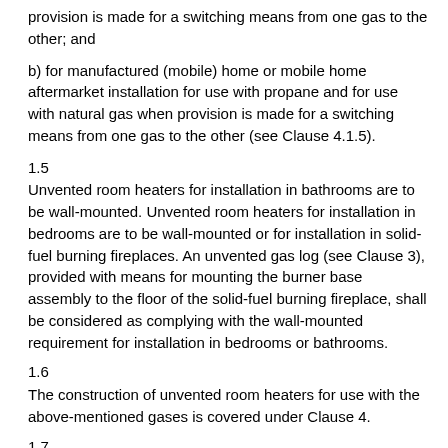provision is made for a switching means from one gas to the other; and
b) for manufactured (mobile) home or mobile home aftermarket installation for use with propane and for use with natural gas when provision is made for a switching means from one gas to the other (see Clause 4.1.5).
1.5
Unvented room heaters for installation in bathrooms are to be wall-mounted. Unvented room heaters for installation in bedrooms are to be wall-mounted or for installation in solid-fuel burning fireplaces. An unvented gas log (see Clause 3), provided with means for mounting the burner base assembly to the floor of the solid-fuel burning fireplace, shall be considered as complying with the wall-mounted requirement for installation in bedrooms or bathrooms.
1.6
The construction of unvented room heaters for use with the above-mentioned gases is covered under Clause 4.
1.7